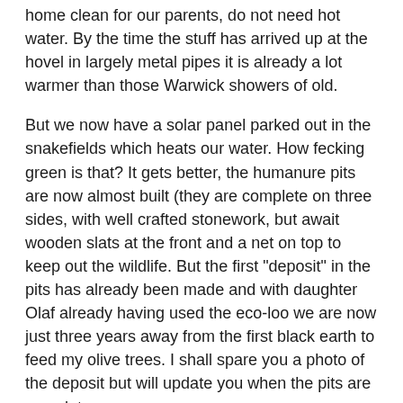home clean for our parents, do not need hot water. By the time the stuff has arrived up at the hovel in largely metal pipes it is already a lot warmer than those Warwick showers of old.
But we now have a solar panel parked out in the snakefields which heats our water. How fecking green is that? It gets better, the humanure pits are now almost built (they are complete on three sides, with well crafted stonework, but await wooden slats at the front and a net on top to keep out the wildlife. But the first "deposit" in the pits has already been made and with daughter Olaf already having used the eco-loo we are now just three years away from the first black earth to feed my olive trees. I shall spare you a photo of the deposit but will update you when the pits are complete.
It does not end there. At the end of the project we